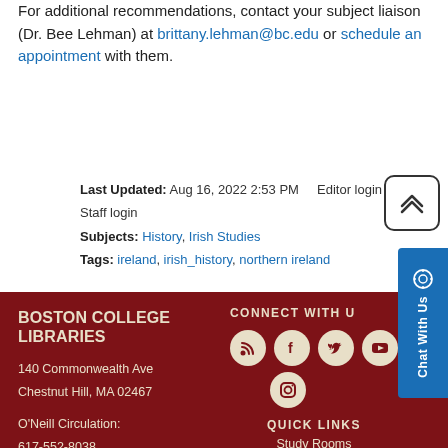For additional recommendations, contact your subject liaison (Dr. Bee Lehman) at brittany.lehman@bc.edu or schedule an appointment with them.
Last Updated: Aug 16, 2022 2:53 PM   Editor login / Staff login
Subjects: History, Irish Studies
Tags: ireland, irish_history, northern ireland
[Figure (other): Back to top button - rounded square with double chevron up arrow]
BOSTON COLLEGE LIBRARIES
140 Commonwealth Ave
Chestnut Hill, MA 02467
O'Neill Circulation:
617-552-8038
O'Neill Ref...
CONNECT WITH US [social icons: RSS, Facebook, Twitter, YouTube, Instagram]
QUICK LINKS
Study Rooms
[Figure (other): Chat With Us widget - blue sidebar button]